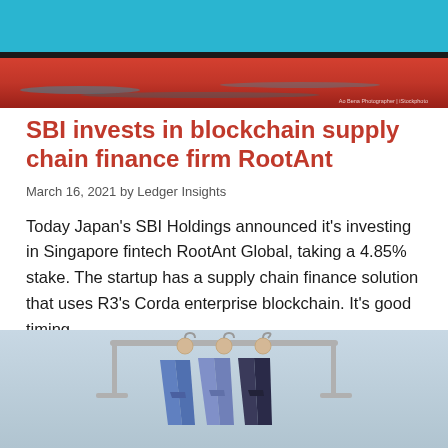[Figure (photo): Photo of a ship hull close up showing teal/blue and red painted sections near the waterline, with a stock photo watermark in the bottom right corner.]
SBI invests in blockchain supply chain finance firm RootAnt
March 16, 2021 by Ledger Insights
Today Japan's SBI Holdings announced it's investing in Singapore fintech RootAnt Global, taking a 4.85% stake. The startup has a supply chain finance solution that uses R3's Corda enterprise blockchain. It's good timing…
[Figure (photo): Photo of three pairs of jeans in varying shades of blue and dark blue hanging on a metal clothing rack against a light blue-grey background.]